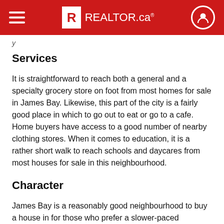REALTOR.ca
Services
It is straightforward to reach both a general and a specialty grocery store on foot from most homes for sale in James Bay. Likewise, this part of the city is a fairly good place in which to go out to eat or go to a cafe. Home buyers have access to a good number of nearby clothing stores. When it comes to education, it is a rather short walk to reach schools and daycares from most houses for sale in this neighbourhood.
Character
James Bay is a reasonably good neighbourhood to buy a house in for those who prefer a slower-paced environment. Green spaces are very well-located and there are approximately 10 of them nearby for residents to explore, which makes them very easy to get to. This area is reasonably quiet overall, as there are low levels of noise from traffic.